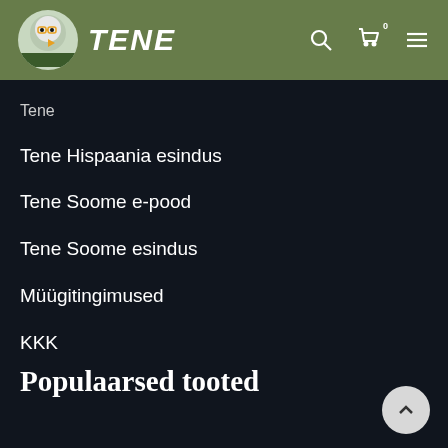TENE
Tene
Tene Hispaania esindus
Tene Soome e-pood
Tene Soome esindus
Müügitingimused
KKK
Populaarsed tooted